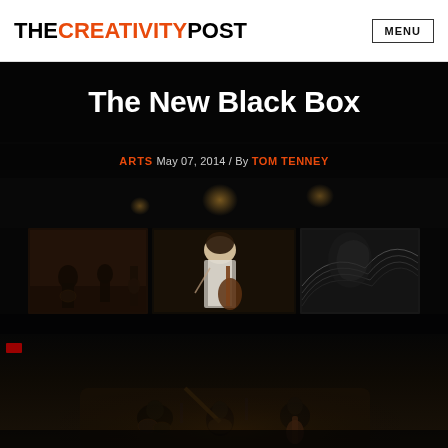THECREATIVITYPOST  MENU
The New Black Box
ARTS May 07, 2014 / By TOM TENNEY
[Figure (photo): Concert performance photo showing three projection screens on a dark stage above, with musicians performing on stage below including string and percussion instruments, shot from above in a dark concert hall]